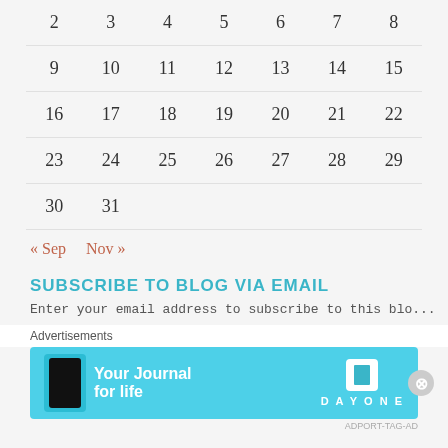| 2 | 3 | 4 | 5 | 6 | 7 | 8 |
| 9 | 10 | 11 | 12 | 13 | 14 | 15 |
| 16 | 17 | 18 | 19 | 20 | 21 | 22 |
| 23 | 24 | 25 | 26 | 27 | 28 | 29 |
| 30 | 31 |  |  |  |  |  |
« Sep   Nov »
SUBSCRIBE TO BLOG VIA EMAIL
Enter your email address to subscribe to this blo...
[Figure (screenshot): Advertisement banner for Day One journal app with cyan background, phone image on left, 'Your Journal for life' text, and Day One logo on right.]